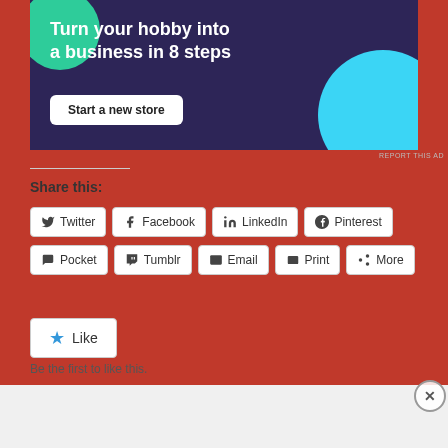[Figure (infographic): Advertisement banner with dark purple background. Text reads 'Turn your hobby into a business in 8 steps' with a 'Start a new store' button. Teal and light blue circular decorative shapes.]
REPORT THIS AD
Share this:
Twitter
Facebook
LinkedIn
Pinterest
Pocket
Tumblr
Email
Print
More
Like
Be the first to like this.
Advertisements
[Figure (infographic): DuckDuckGo advertisement banner. Orange left section with text 'Search, browse, and email with more privacy. All in One Free App'. Dark right section with DuckDuckGo duck logo and brand name.]